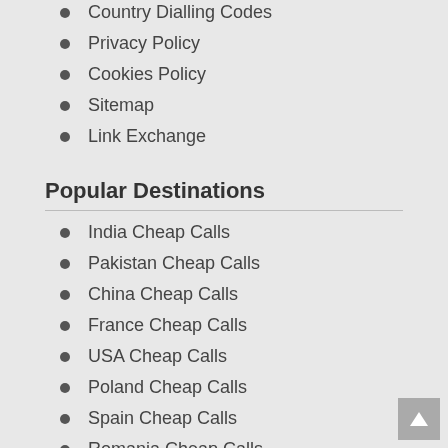Country Dialling Codes
Privacy Policy
Cookies Policy
Sitemap
Link Exchange
Popular Destinations
India Cheap Calls
Pakistan Cheap Calls
China Cheap Calls
France Cheap Calls
USA Cheap Calls
Poland Cheap Calls
Spain Cheap Calls
Romania Cheap Calls
Sri Lanka Cheap Calls